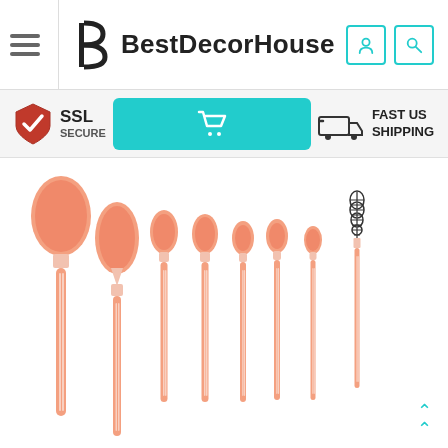BestDecorHouse
[Figure (screenshot): SSL Secure badge, shopping cart button, and Fast US Shipping icon trust bar]
[Figure (photo): Set of 8 pink/coral makeup brushes including powder brush, foundation brush, eyeshadow brushes, and mascara wand, arranged fanned out on white background]